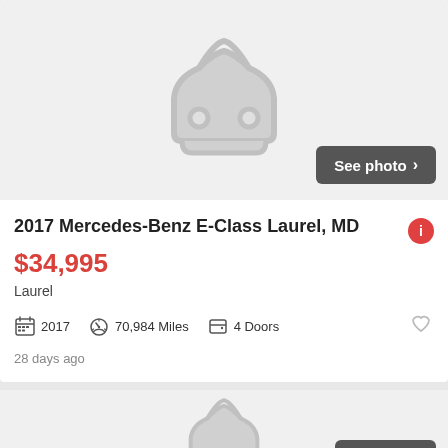[Figure (illustration): Placeholder car silhouette icon on light gray background for vehicle listing with no photo]
See photo >
2017 Mercedes-Benz E-Class Laurel, MD
$34,995
Laurel
2017   70,984 Miles   4 Doors
28 days ago
[Figure (illustration): Partial placeholder car silhouette icon on light gray background for second vehicle listing]